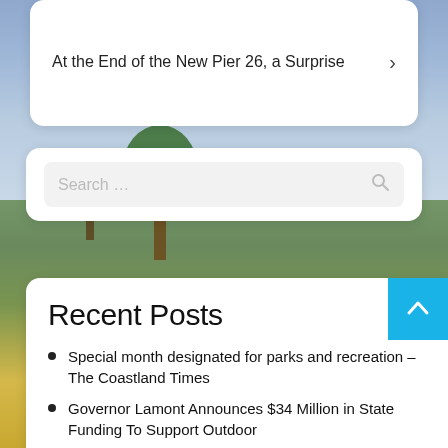[Figure (photo): Outdoor scenic background with mountains, green trees, cloudy sky, and colorful flowers. A camping tent is visible on the right edge.]
At the End of the New Pier 26, a Surprise >
Search ...
Recent Posts
Special month designated for parks and recreation – The Coastland Times
Governor Lamont Announces $34 Million in State Funding To Support Outdoor